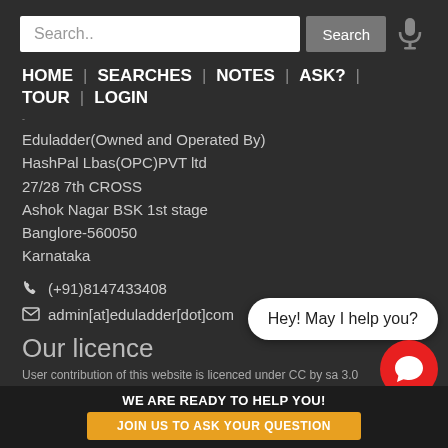[Figure (screenshot): Search bar with text input field showing 'Search..', a 'Search' button, and a microphone icon on dark background]
HOME | SEARCHES | NOTES | ASK? | TOUR | LOGIN
Eduladder(Owned and Operated By)
HashPal Lbas(OPC)PVT ltd
27/28 7th CROSS
Ashok Nagar BSK 1st stage
Banglore-560050
Karnataka
(+91)8147433408
admin[at]eduladder[dot]com
Our licence
User contribution of this website is licenced under CC by sa 3.0
Hey! May I help you?
WE ARE READY TO HELP YOU!
JOIN US TO ASK YOUR QUESTION